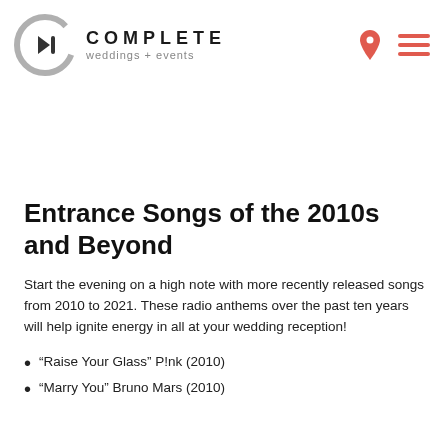COMPLETE weddings + events
Entrance Songs of the 2010s and Beyond
Start the evening on a high note with more recently released songs from 2010 to 2021. These radio anthems over the past ten years will help ignite energy in all at your wedding reception!
“Raise Your Glass” P!nk (2010)
“Marry You” Bruno Mars (2010)